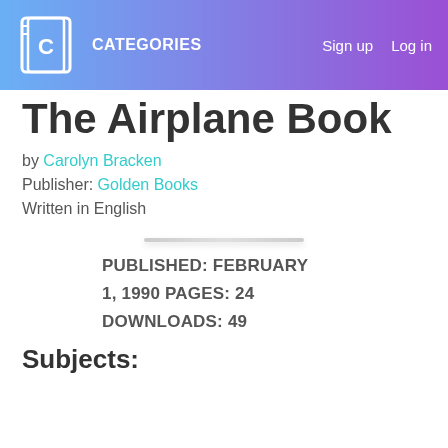CATEGORIES   Sign up   Log in
The Airplane Book
by Carolyn Bracken
Publisher: Golden Books
Written in English
PUBLISHED: FEBRUARY 1, 1990 PAGES: 24
DOWNLOADS: 49
Subjects: